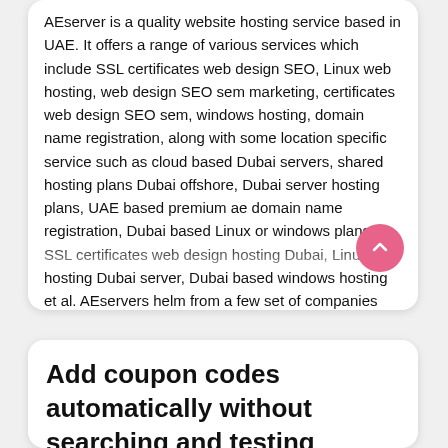AEserver is a quality website hosting service based in UAE. It offers a range of various services which include SSL certificates web design SEO, Linux web hosting, web design SEO sem marketing, certificates web design SEO sem, windows hosting, domain name registration, along with some location specific service such as cloud based Dubai servers, shared hosting plans Dubai offshore, Dubai server hosting plans, UAE based premium ae domain name registration, Dubai based Linux or windows plans, SSL certificates web design hosting Dubai, Linux web hosting Dubai server, Dubai based windows hosting et al. AEservers helm from a few set of companies that have been accredited and licensed by
Learn More
Add coupon codes automatically without searching and testing